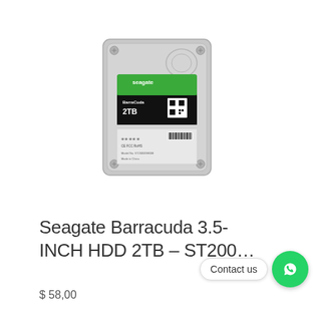[Figure (photo): Seagate Barracuda 3.5-inch HDD product photo showing the hard drive from above with green and black label, QR code, and silver casing with corner screws]
Seagate Barracuda 3.5-INCH HDD 2TB – ST200...
$ 58,00
Contact us